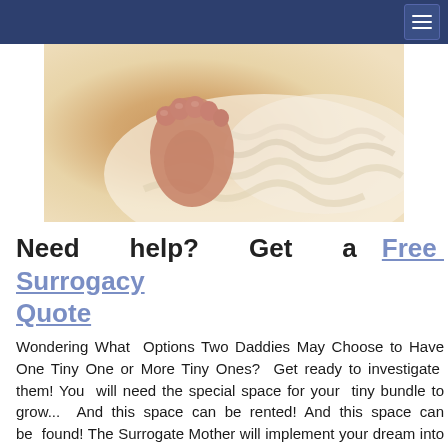≡
[Figure (photo): Close-up photograph of newborn baby feet resting on white fluffy knit fabric/blanket]
Need help? Get a Free Surrogacy Quote
Wondering What Options Two Daddies May Choose to Have One Tiny One or More Tiny Ones? Get ready to investigate them! You will need the special space for your tiny bundle to grow... And this space can be rented! And this space can be found! The Surrogate Mother will implement your dream into reality!